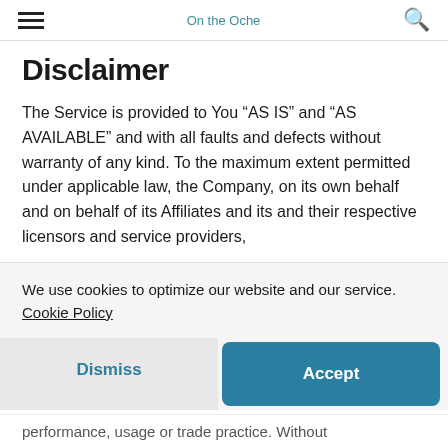On the Oche
Disclaimer
The Service is provided to You “AS IS” and “AS AVAILABLE” and with all faults and defects without warranty of any kind. To the maximum extent permitted under applicable law, the Company, on its own behalf and on behalf of its Affiliates and its and their respective licensors and service providers,
We use cookies to optimize our website and our service. Cookie Policy
Dismiss
Accept
performance, usage or trade practice. Without